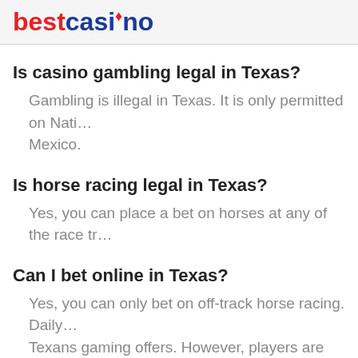bestcasino
Is casino gambling legal in Texas?
Gambling is illegal in Texas. It is only permitted on Nati… Mexico.
Is horse racing legal in Texas?
Yes, you can place a bet on horses at any of the race tr…
Can I bet online in Texas?
Yes, you can only bet on off-track horse racing. Daily… Texans gaming offers. However, players are still accepte…
How many casinos does Texas have?
Texas has only one casino, Kickapoo Casino.
Is Texas getting casinos?